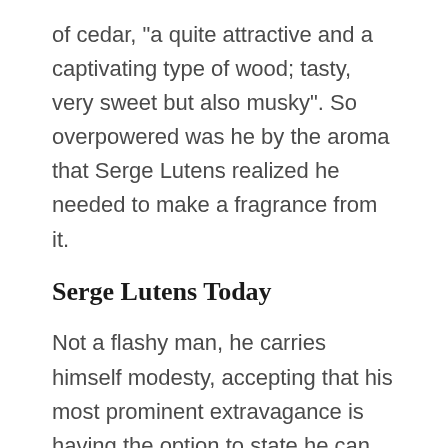of cedar, "a quite attractive and a captivating type of wood; tasty, very sweet but also musky". So overpowered was he by the aroma that Serge Lutens realized he needed to make a fragrance from it.
Serge Lutens Today
Not a flashy man, he carries himself modesty, accepting that his most prominent extravagance is having the option to state he can live without "almost everything, except perhaps for friendship ". Initially sold distinctly through the Palais du Royal, his creations are presently somewhat more broadly accessible, with stockists including